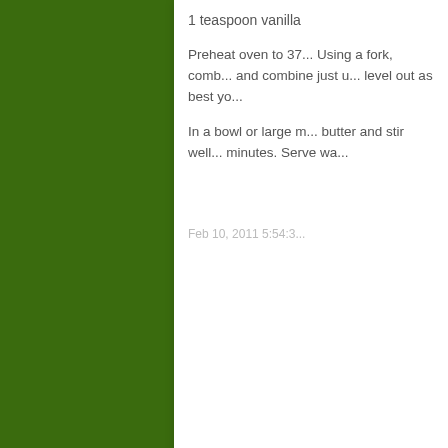[Figure (screenshot): Green background covering the left portion of the page]
1 teaspoon vanilla
Preheat oven to 37... Using a fork, comb... and combine just u... level out as best yo...
In a bowl or large m... butter and stir well... minutes. Serve wa...
Feb 10, 2011 5:54:3...
Comments
6 Comment...
I've done some...
This a...